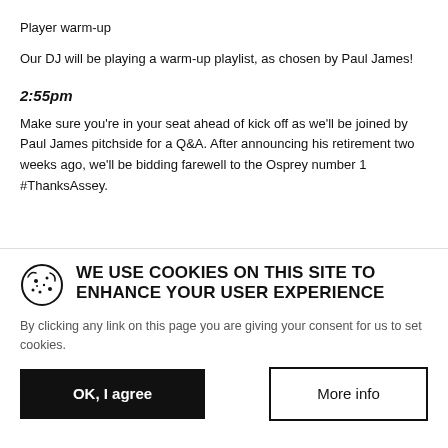Player warm-up
Our DJ will be playing a warm-up playlist, as chosen by Paul James!
2:55pm
Make sure you're in your seat ahead of kick off as we'll be joined by Paul James pitchside for a Q&A. After announcing his retirement two weeks ago, we'll be bidding farewell to the Osprey number 1 #ThanksAssey.
WE USE COOKIES ON THIS SITE TO ENHANCE YOUR USER EXPERIENCE
By clicking any link on this page you are giving your consent for us to set cookies.
OK, I agree
More info